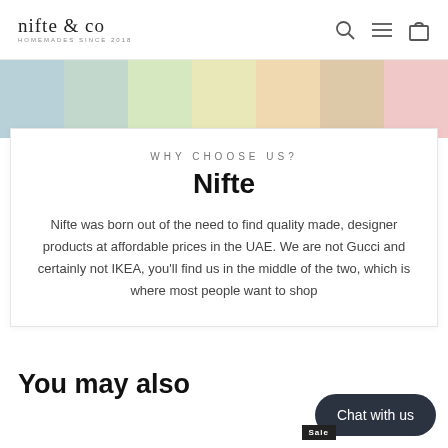nifte & co — HOMEMADES SINCE 2018
[Figure (illustration): Color band with pastel strips: light blue, mint green, light yellow, peach/orange, tan, pink]
WHY CHOOSE US?
Nifte
Nifte was born out of the need to find quality made, designer products at affordable prices in the UAE. We are not Gucci and certainly not IKEA, you'll find us in the middle of the two, which is where most people want to shop
You may also
Chat with us